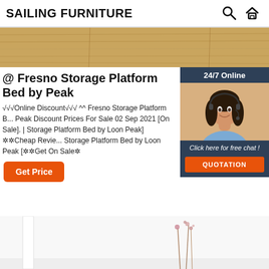SAILING FURNITURE
[Figure (photo): Wood floor close-up top image strip]
@ Fresno Storage Platform Bed by Peak
√√√Online Discount√√√ ^^ Fresno Storage Platform Bed by Loon Peak Discount Prices For Sale 02 Sep 2021 [On Sale]. | Fresno Storage Platform Bed by Loon Peak] ✲✲Cheap Reviews Fresno Storage Platform Bed by Loon Peak [✲✲Get On Sale✲
[Figure (photo): 24/7 Online chat widget with customer service representative photo, Click here for free chat!, QUOTATION button]
Get Price
[Figure (photo): Bottom room interior image with white walls and dried flowers]